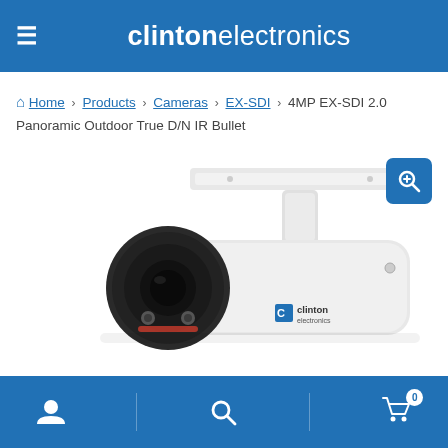clinton electronics
Home › Products › Cameras › EX-SDI › 4MP EX-SDI 2.0 Panoramic Outdoor True D/N IR Bullet
[Figure (photo): White Clinton Electronics outdoor bullet security camera (4MP EX-SDI 2.0 Panoramic) with mounting bracket, shown at an angle. Camera body is white with a black front lens housing.]
Navigation icons: user account, search, shopping cart (0 items)